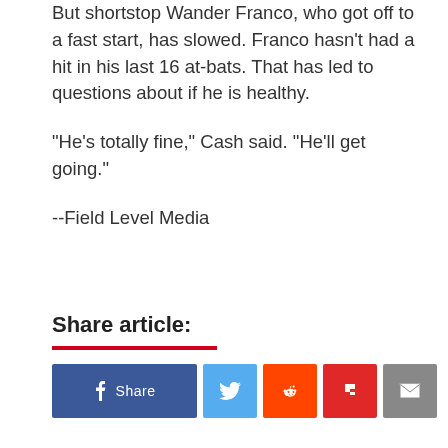But shortstop Wander Franco, who got off to a fast start, has slowed. Franco hasn't had a hit in his last 16 at-bats. That has led to questions about if he is healthy.
"He's totally fine," Cash said. "He'll get going."
--Field Level Media
Share article:
[Figure (other): Social share buttons: Facebook Share, Twitter, Reddit, Flipboard, Email]